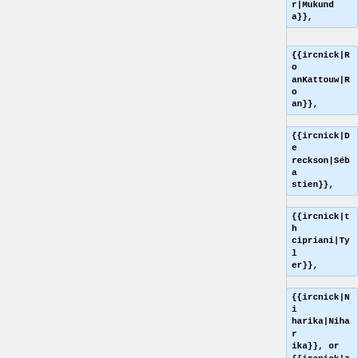r|Mukunda}},
{{ircnick|RoanKattouw|Roan}},
{{ircnick|Dereckson|Sébastien}},
{{ircnick|thcipriani|Tyler}},
{{ircnick|Niharika|Niharika}}, or {{ircnick|zeljkof|Željko}}
|what=
{{ircnick|irc-